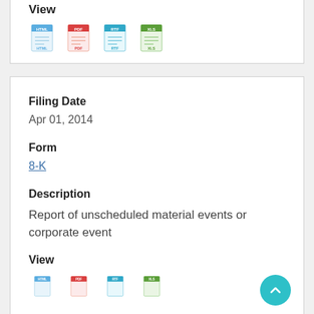View
[Figure (other): File format icons: HTML, PDF, RTF, XLS]
Filing Date
Apr 01, 2014
Form
8-K
Description
Report of unscheduled material events or corporate event
View
[Figure (other): File format icons: HTML, PDF, RTF, XLS (partial)]